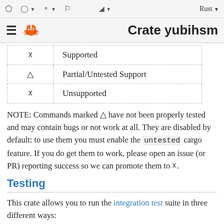Crate yubihsm
| Icon | Meaning |
| --- | --- |
| ☑ | Supported |
| △ | Partial/Untested Support |
| ☒ | Unsupported |
NOTE: Commands marked △ have not been properly tested and may contain bugs or not work at all. They are disabled by default: to use them you must enable the untested cargo feature. If you do get them to work, please open an issue (or PR) reporting success so we can promote them to ☑.
Testing
This crate allows you to run the integration test suite in three different ways: